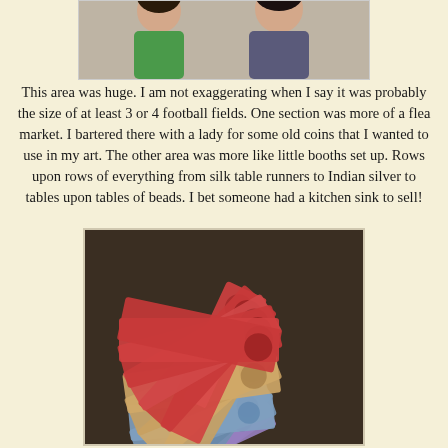[Figure (photo): Partial photo of two people visible at top of page, cropped]
This area was huge.  I am not exaggerating when I say it was probably the size of at least 3 or 4 football fields.  One section was more of a flea market.  I bartered there with a lady for some old coins that I wanted to use in my art.  The other area was more like little booths set up.  Rows upon rows of everything from silk table runners to Indian silver to tables upon tables of beads.  I bet someone had a kitchen sink to sell!
[Figure (photo): Photo of a fan of Chinese yuan banknotes of various denominations spread out on a dark table surface]